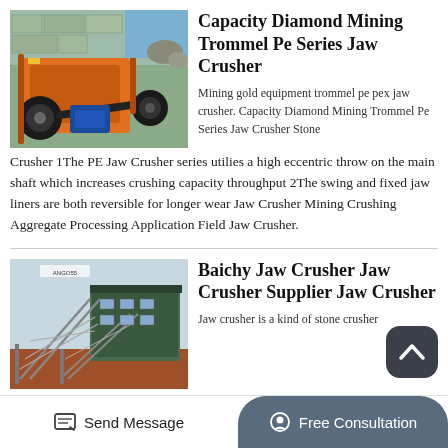[Figure (photo): Orange jaw crusher mining equipment]
Capacity Diamond Mining Trommel Pe Series Jaw Crusher
Mining gold equipment trommel pe pex jaw crusher. Capacity Diamond Mining Trommel Pe Series Jaw Crusher Stone Crusher 1The PE Jaw Crusher series utilies a high eccentric throw on the main shaft which increases crushing capacity throughput 2The swing and fixed jaw liners are both reversible for longer wear Jaw Crusher Mining Crushing Aggregate Processing Application Field Jaw Crusher.
[Figure (photo): Industrial jaw crusher plant with conveyor belts and steel structure]
Baichy Jaw Crusher Jaw Crusher Supplier Jaw Crusher
Jaw crusher is a kind of stone crusher machine which is widely used as primary or secondary crusher in stone
Send Message   Free Consultation